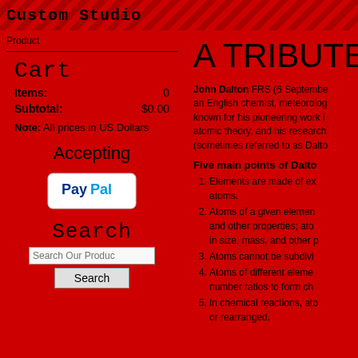Custom Studio
[Figure (other): Product image placeholder label]
Cart
Items: 0
Subtotal: $0.00
Note: All prices in US Dollars
Accepting
[Figure (logo): PayPal acceptance logo/badge]
Search
Search Our Products
A TRIBUTE
John Dalton FRS (6 September... an English chemist, meteorologist, known for his pioneering work in atomic theory, and his research (sometimes referred to as Dalton...
Five main points of Dalton's
Elements are made of extremely small atoms.
Atoms of a given element are identical in size, mass, and other properties; atoms of different elements differ in size, mass, and other properties.
Atoms cannot be subdivided, created, or destroyed.
Atoms of different elements combine in simple, whole number ratios to form chemical compounds.
In chemical reactions, atoms are combined, separated, or rearranged.